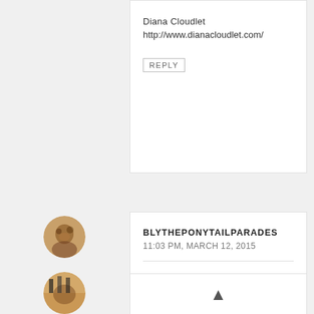Diana Cloudlet
http://www.dianacloudlet.com/
REPLY
[Figure (photo): Circular avatar image of a person, brownish tones]
BLYTHEPONYTAILPARADES
11:03 PM, MARCH 12, 2015
Is your indiana pic from Lake Michigan? LOVE this idea! I've been wanting to do something to incorporate everywhere me and my husband have gone together. :)
REPLY
[Figure (photo): Circular avatar image partial at bottom]
[Figure (other): Up arrow chevron icon]